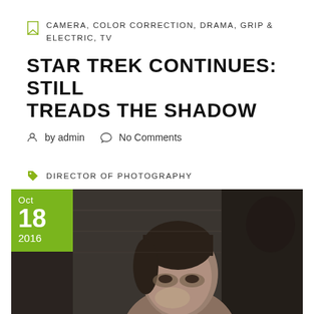CAMERA, COLOR CORRECTION, DRAMA, GRIP & ELECTRIC, TV
STAR TREK CONTINUES: STILL TREADS THE SHADOW
by admin   No Comments
DIRECTOR OF PHOTOGRAPHY
[Figure (photo): Dark dramatic photo of a person looking up, with date badge Oct 18 2016 in green]